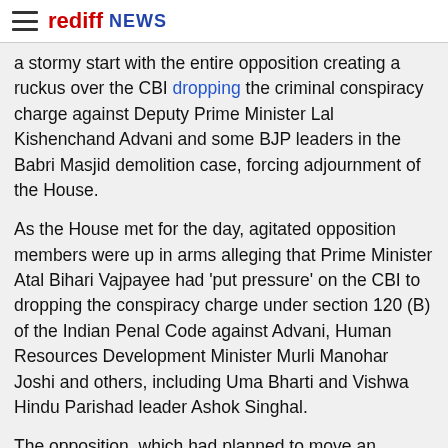rediff NEWS
a stormy start with the entire opposition creating a ruckus over the CBI dropping the criminal conspiracy charge against Deputy Prime Minister Lal Kishenchand Advani and some BJP leaders in the Babri Masjid demolition case, forcing adjournment of the House.
As the House met for the day, agitated opposition members were up in arms alleging that Prime Minister Atal Bihari Vajpayee had 'put pressure' on the CBI to dropping the conspiracy charge under section 120 (B) of the Indian Penal Code against Advani, Human Resources Development Minister Murli Manohar Joshi and others, including Uma Bharti and Vishwa Hindu Parishad leader Ashok Singhal.
The opposition, which had planned to move an adjournment motion, stormed the well during Question Hour shouting anti-government slogans and demanded dismissal of Advani and Joshi.
In view of the pandemonium, Speaker Manohar Joshi adjourned the House till 1400 IST.